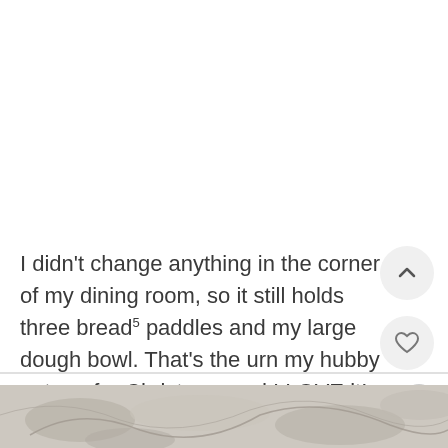I didn't change anything in the corner of my dining room, so it still holds three bread paddles and my large dough bowl. That's the urn my hubby got me for Christmas and I LOVE it!
[Figure (photo): Partial bottom strip showing a decorative or nature-themed image in muted tones]